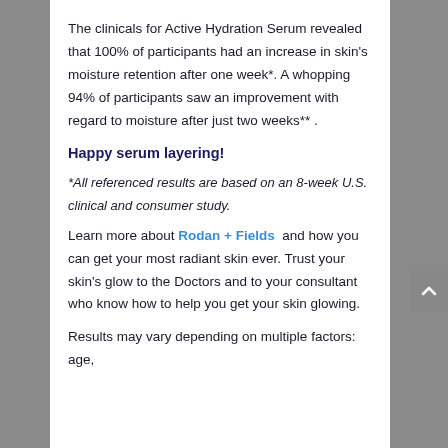The clinicals for Active Hydration Serum revealed that 100% of participants had an increase in skin's moisture retention after one week*. A whopping 94% of participants saw an improvement with regard to moisture after just two weeks** .
Happy serum layering!
*All referenced results are based on an 8-week U.S. clinical and consumer study.
Learn more about Rodan + Fields and how you can get your most radiant skin ever. Trust your skin's glow to the Doctors and to your consultant who know how to help you get your skin glowing.
Results may vary depending on multiple factors: age,